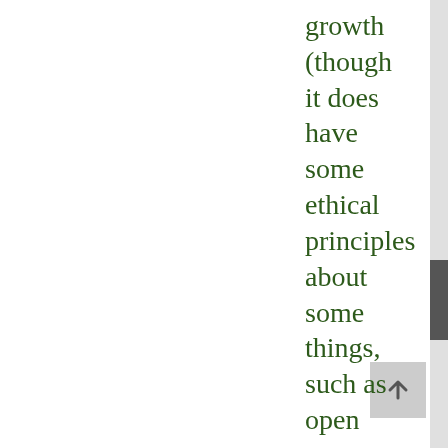growth (though it does have some ethical principles about some things, such as open source development – its business model is evil, but not all of its practices). It has so far staunchly resisted attack, notwithstanding its drop in popularity in established markets and a long history of truly stunning breaches of trust.
Do boycott Facebook if you can. If you need a reason, other than that you are...